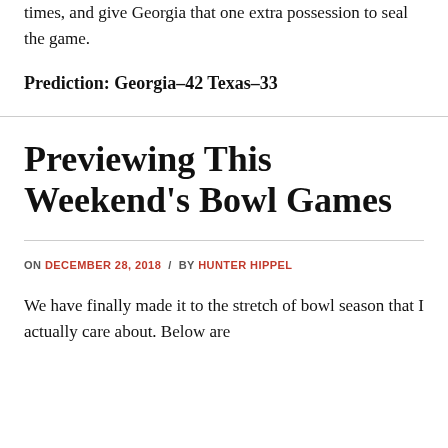times, and give Georgia that one extra possession to seal the game.
Prediction: Georgia–42 Texas–33
Previewing This Weekend's Bowl Games
ON DECEMBER 28, 2018 / BY HUNTER HIPPEL
We have finally made it to the stretch of bowl season that I actually care about. Below are